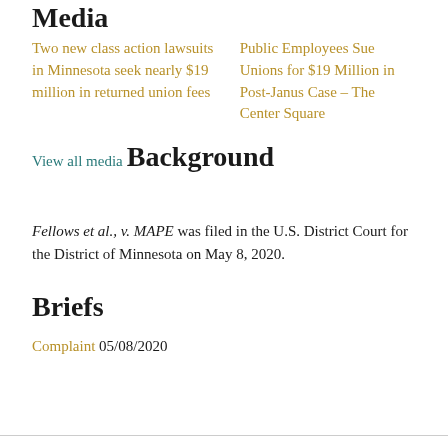Media
Two new class action lawsuits in Minnesota seek nearly $19 million in returned union fees
Public Employees Sue Unions for $19 Million in Post-Janus Case – The Center Square
View all media
Background
Fellows et al., v. MAPE was filed in the U.S. District Court for the District of Minnesota on May 8, 2020.
Briefs
Complaint 05/08/2020